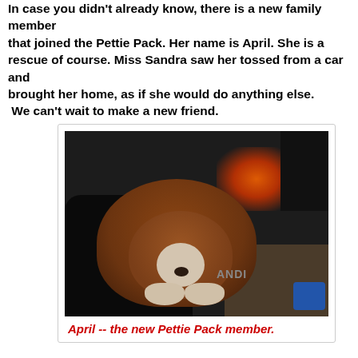In case you didn't already know, there is a new family member that joined the Pettie Pack. Her name is April. She is a rescue of course. Miss Sandra saw her tossed from a car and brought her home, as if she would do anything else.  We can't wait to make a new friend.
[Figure (photo): A brown and white pit bull puppy lying on a dark jacket/clothing, with a lit fireplace in the background and a blue item visible in the bottom right corner.]
April -- the new Pettie Pack member.